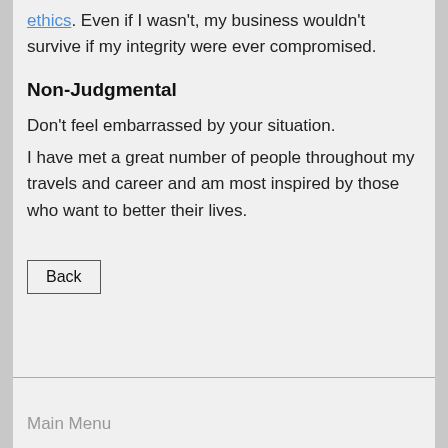ethics. Even if I wasn't, my business wouldn't survive if my integrity were ever compromised.
Non-Judgmental
Don't feel embarrassed by your situation.
I have met a great number of people throughout my travels and career and am most inspired by those who want to better their lives.
Back
Main Menu